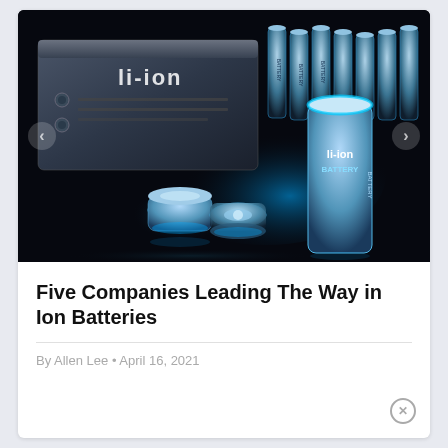[Figure (photo): A dark dramatic photo of lithium-ion batteries glowing with blue light, including cylindrical battery cells and a rectangular battery pack with 'li-ion' text, arranged on a dark reflective surface. Navigation arrows are visible on the left and right sides of the image.]
Five Companies Leading The Way in Ion Batteries
By Allen Lee • April 16, 2021